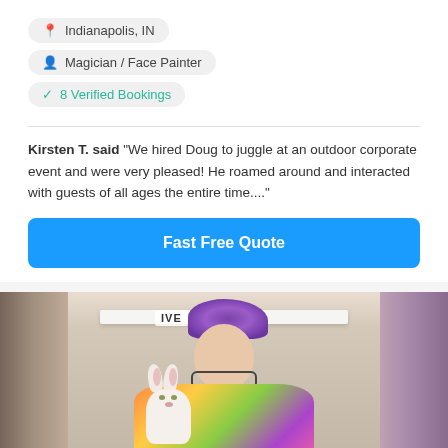Indianapolis, IN
Magician / Face Painter
8 Verified Bookings
Kirsten T. said “We hired Doug to juggle at an outdoor corporate event and were very pleased! He roamed around and interacted with guests of all ages the entire time....”
Fast Free Quote
[Figure (photo): Woman with purple and grey hair, wearing tie-dye shirt, holding a white bunny hand puppet, standing in front of a stone fireplace. A LIVE tag is visible in the upper portion of the image. Left and right edges are blurred.]